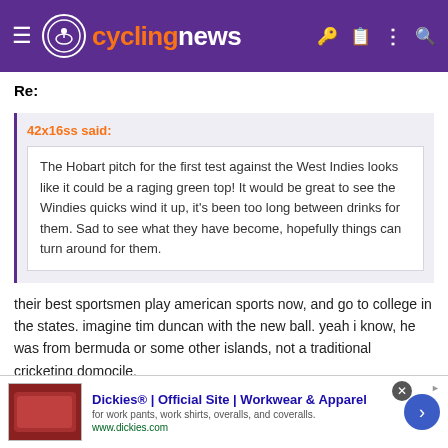cyclingnews
Re:
42x16ss said:
The Hobart pitch for the first test against the West Indies looks like it could be a raging green top! It would be great to see the Windies quicks wind it up, it's been too long between drinks for them. Sad to see what they have become, hopefully things can turn around for them.
their best sportsmen play american sports now, and go to college in the states. imagine tim duncan with the new ball. yeah i know, he was from bermuda or some other islands, not a traditional cricketing domocile.
[Figure (screenshot): Advertisement for Dickies Official Site - Workwear & Apparel showing a red couch image on the left, ad text in the middle, and a blue arrow button on the right]